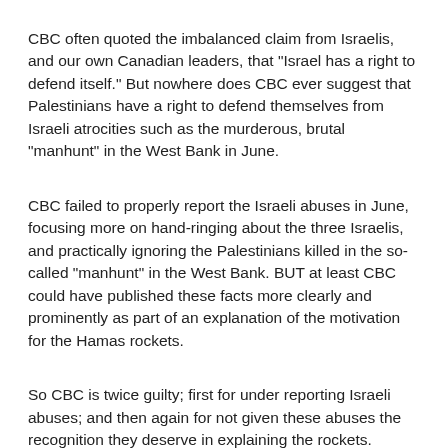CBC often quoted the imbalanced claim from Israelis, and our own Canadian leaders, that "Israel has a right to defend itself." But nowhere does CBC ever suggest that Palestinians have a right to defend themselves from Israeli atrocities such as the murderous, brutal "manhunt" in the West Bank in June.
CBC failed to properly report the Israeli abuses in June, focusing more on hand-ringing about the three Israelis, and practically ignoring the Palestinians killed in the so-called "manhunt" in the West Bank. BUT at least CBC could have published these facts more clearly and prominently as part of an explanation of the motivation for the Hamas rockets.
So CBC is twice guilty; first for under reporting Israeli abuses; and then again for not given these abuses the recognition they deserve in explaining the rockets.